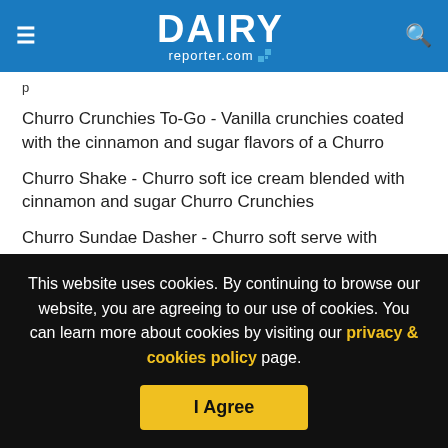DAIRY reporter.com
p
Churro Crunchies To-Go - Vanilla crunchies coated with the cinnamon and sugar flavors of a Churro
Churro Shake - Churro soft ice cream blended with cinnamon and sugar Churro Crunchies
Churro Sundae Dasher - Churro soft serve with layers of Churro Crunchies and cinnamon and sugar mini-Churro pieces, topped with whipped cream and caramel
This website uses cookies. By continuing to browse our website, you are agreeing to our use of cookies. You can learn more about cookies by visiting our privacy & cookies policy page.
I Agree